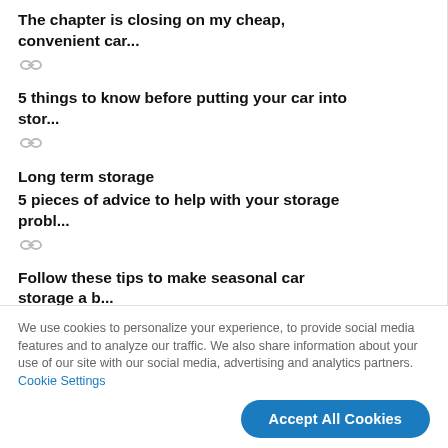The chapter is closing on my cheap, convenient car...
5 things to know before putting your car into stor...
Long term storage
5 pieces of advice to help with your storage probl...
Follow these tips to make seasonal car storage a b...
We use cookies to personalize your experience, to provide social media features and to analyze our traffic. We also share information about your use of our site with our social media, advertising and analytics partners. Cookie Settings
Accept All Cookies